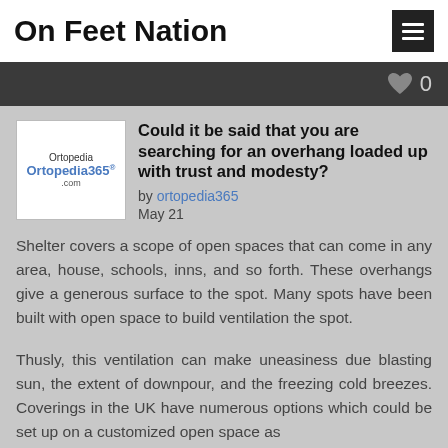On Feet Nation
Could it be said that you are searching for an overhang loaded up with trust and modesty?
by ortopedia365
May 21
Shelter covers a scope of open spaces that can come in any area, house, schools, inns, and so forth. These overhangs give a generous surface to the spot. Many spots have been built with open space to build ventilation the spot.
Thusly, this ventilation can make uneasiness due blasting sun, the extent of downpour, and the freezing cold breezes. Coverings in the UK have numerous options which could be set up on a customized open space as